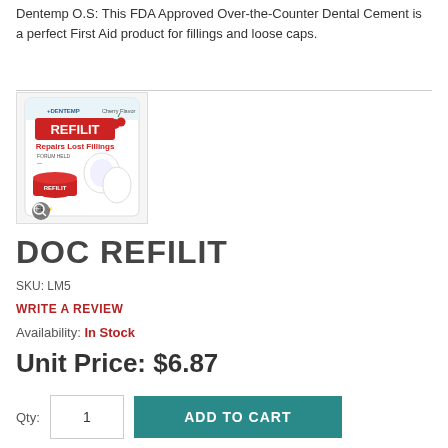Dentemp O.S: This FDA Approved Over-the-Counter Dental Cement is a perfect First Aid product for fillings and loose caps.
[Figure (photo): Product packaging image of Dentemp REFILIT - Repairs Lost Fillings dental product, showing a red and white blister card package with a small jar of filling material]
DOC REFILIT
SKU: LM5
WRITE A REVIEW
Availability: In Stock
Unit Price: $6.87
Qty: 1
ADD TO CART